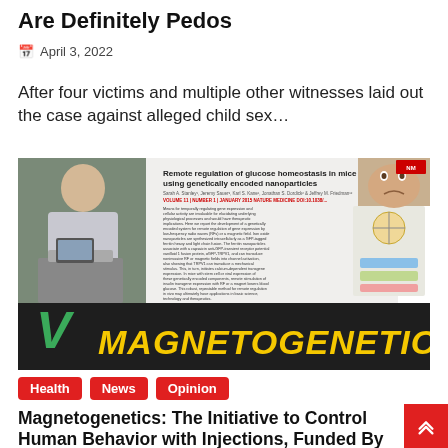Are Definitely Pedos
April 3, 2022
After four victims and multiple other witnesses laid out the case against alleged child sex…
[Figure (photo): A photo showing a man speaking at a podium with a presentation slide behind him about 'Remote regulation of glucose homeostasis in mice using genetically encoded nanoparticles' and a banner reading MAGNETOGENETICS in yellow text.]
Health
News
Opinion
Magnetogenetics: The Initiative to Control Human Behavior with Injections, Funded By Mark Zuckerberg